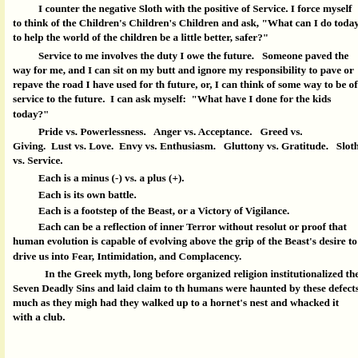I counter the negative Sloth with the positive of Service. I force myself to think of the Children's Children's Children and ask, "What can I do today to help the world of the children be a little better, safer?"
    Service to me involves the duty I owe the future.   Someone paved the way for me, and I can sit on my butt and ignore my responsibility to pave or repave the road I have used for the future, or, I can think of some way to be of service to the future.  I can ask myself:  "What have I done for the kids today?"
    Pride vs. Powerlessness.  Anger vs. Acceptance.  Greed vs. Giving.  Lust vs. Love.  Envy vs. Enthusiasm.   Gluttony vs. Gratitude.   Sloth vs. Service.
    Each is a minus (-) vs. a plus (+).
    Each is its own battle.
    Each is a footstep of the Beast, or a Victory of Vigilance.
    Each can be a reflection of inner Terror without resolution, or proof that human evolution is capable of evolving above the grip of the Beast's desire to drive us into Fear, Intimidation, and Complacency.
    In the Greek myth, long before organized religion institutionalized the Seven Deadly Sins and laid claim to the humans were haunted by these defects much as they might have had they walked up to a hornet's nest and whacked it with a club.